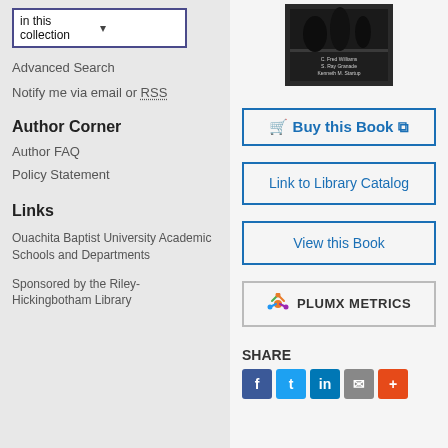in this collection
Advanced Search
Notify me via email or RSS
Author Corner
Author FAQ
Policy Statement
Links
Ouachita Baptist University Academic Schools and Departments
Sponsored by the Riley-Hickingbotham Library
[Figure (photo): Book cover with dark background showing people, authors C. Fred Williams, S. Ray Granade, Kenneth M. Startup]
Buy this Book
Link to Library Catalog
View this Book
PLUMX METRICS
SHARE